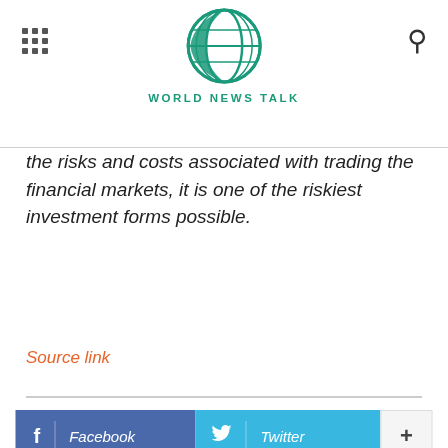World News Talk
the risks and costs associated with trading the financial markets, it is one of the riskiest investment forms possible.
Source link
Facebook  Twitter  +